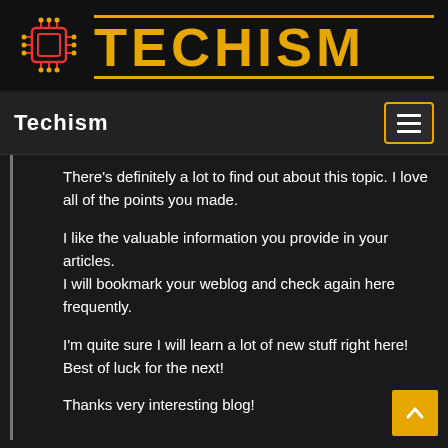[Figure (logo): Techism logo with circuit board chip icon and gold TECHISM text with gold horizontal lines above and below]
Techism
There’s definitely a lot to find out about this topic. I love all of the points you made.
I like the valuable information you provide in your articles.
I will bookmark your weblog and check again here frequently.
I’m quite sure I will learn a lot of new stuff right here!
Best of luck for the next!
Thanks very interesting blog!